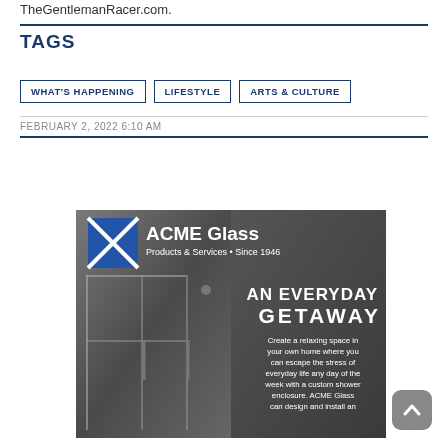TheGentlemanRacer.com.
TAGS
WHAT'S HAPPENING
LIFESTYLE
ARTS & CULTURE
FEBRUARY 2, 2022 6:10 AM
[Figure (photo): ACME Glass advertisement showing a custom shower enclosure. Logo with blue square and cross. Text reads: ACME Glass Products & Services • Since 1946. AN EVERYDAY GETAWAY. Create a relaxing space in your own home where you can escape the stress of everyday life any day of the week with a custom shower enclosure. ACME Glass can design and install an]